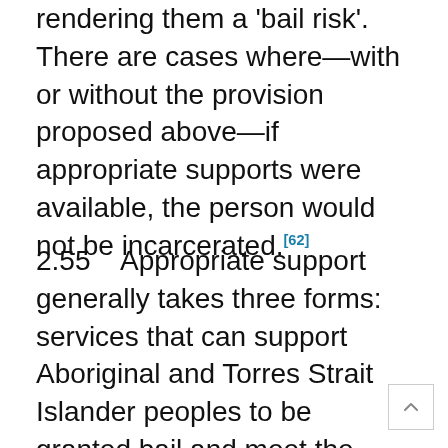rendering them a 'bail risk'. There are cases where—with or without the provision proposed above—if appropriate supports were available, the person would not be incarcerated.[62]
2.55    Appropriate support generally takes three forms: services that can support Aboriginal and Torres Strait Islander peoples to be granted bail and meet the conditions of their release; mainstream bail diversion programs; and culturally